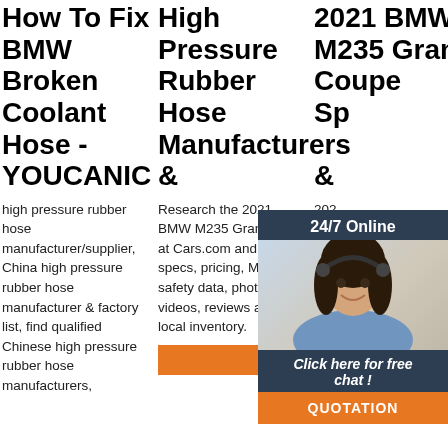How To Fix BMW Broken Coolant Hose - YOUCANIC
High Pressure Rubber Hose Manufacturers &
2021 BMW M235 Gran Coupe Specs &
high pressure rubber hose manufacturer/supplier, China high pressure rubber hose manufacturer & factory list, find qualified Chinese high pressure rubber hose manufacturers,
Research the 2021 BMW M235 Gran Coupe at Cars.com and find specs, pricing, MPG, safety data, photos, videos, reviews and local inventory.
[Figure (infographic): Customer service widget showing a woman with headset, '24/7 Online' header, 'Click here for free chat!' text, and orange QUOTATION button]
2021 BMW... was different over its 6 year production run. Not all wheel options were offered in all markets of the world. The 850CSi was not sold in